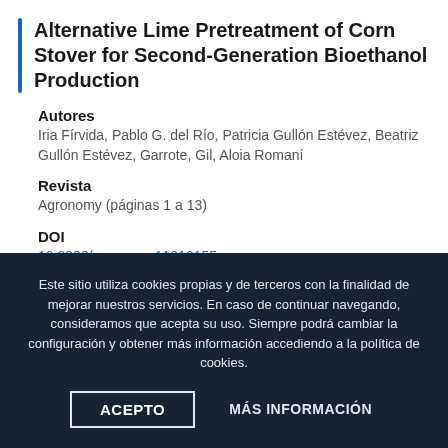Alternative Lime Pretreatment of Corn Stover for Second-Generation Bioethanol Production
Autores
Iria Fírvida, Pablo G. del Río, Patricia Gullón Estévez, Beatriz Gullón Estévez, Garrote, Gil, Aloia Romaní
Revista
Agronomy (páginas 1 a 13)
DOI
10.3390/agronomy11010155
Evaluation of sustainable technologies for the
Este sitio utiliza cookies propias y de terceros con la finalidad de mejorar nuestros servicios. En caso de continuar navegando, consideramos que acepta su uso. Siempre podrá cambiar la configuración y obtener más información accediendo a la política de cookies.